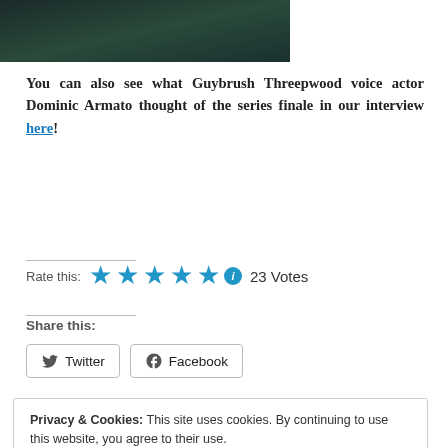[Figure (photo): Dark teal/green photo partially visible at the top of the page, cropped]
You can also see what Guybrush Threepwood voice actor Dominic Armato thought of the series finale in our interview here!
Rate this: ★★★★★ ⓘ 23 Votes
Share this:
Twitter  Facebook
Privacy & Cookies: This site uses cookies. By continuing to use this website, you agree to their use.
To find out more, including how to control cookies, see here: Cookie Policy
Close and accept